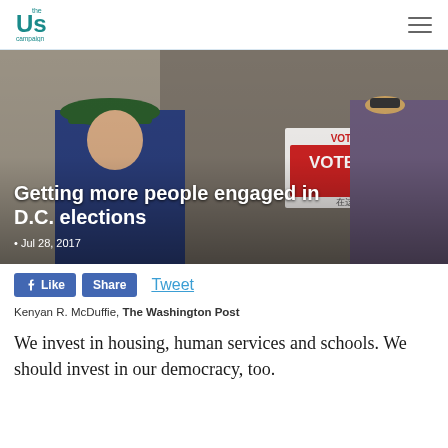the Us campaign
[Figure (photo): People standing in line at a polling place. A 'VOTE AQUI / VOTE HERE / 在这里投票' multilingual sign with a red arrow is visible. A man in a green cap and blue jacket is prominent. Overlaid text reads: Getting more people engaged in D.C. elections • Jul 28, 2017]
Getting more people engaged in D.C. elections
• Jul 28, 2017
Like  Share  Tweet
Kenyan R. McDuffie, The Washington Post
We invest in housing, human services and schools. We should invest in our democracy, too.